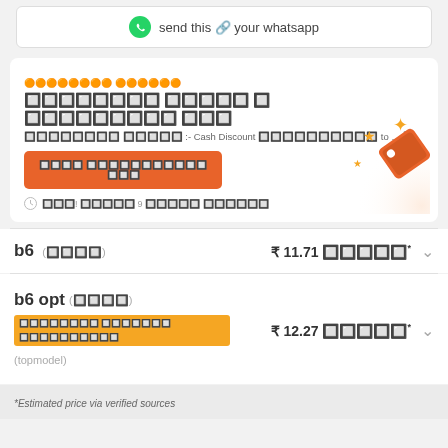send this to your whatsapp
XXXXXXXX XXXXXX
XXXXXXXX XXXXX X XXXXXXXXX XXX
XXXXXXXX XXXXX :- Cash Discount XXXXXXXXXX to … X
XXXX XXXXXXXXXXX XXX
XXXX XXXXX 9 XXXX XXXXXX
b6  (XXXX)  ₹ 11.71 XXXXX*
b6 opt  (XXXX)  XXXXXXXXXX XXXXXX XXXXXXXXXXXX  (top model)  ₹ 12.27 XXXXX*
*Estimated price via verified sources